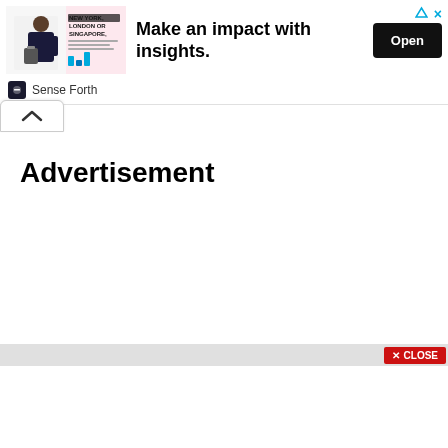[Figure (screenshot): Advertisement banner showing a man with luggage and text 'NEW YORK, LONDON OR SINGAPORE.' with a 'Make an impact with insights.' headline and an Open button. Sponsored by Sense Forth.]
Advertisement
[Figure (screenshot): Close button at bottom right: red button with X CLOSE label]